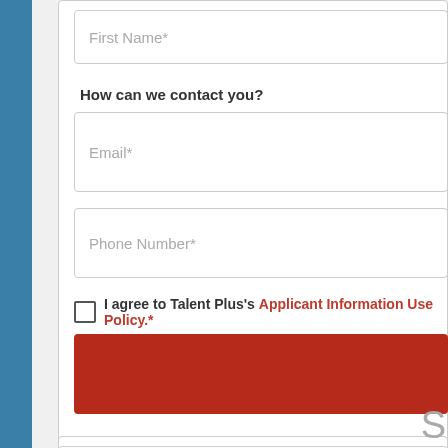First Name*
How can we contact you?
Email*
Phone Number*
I agree to Talent Plus's Applicant Information Use Policy.*